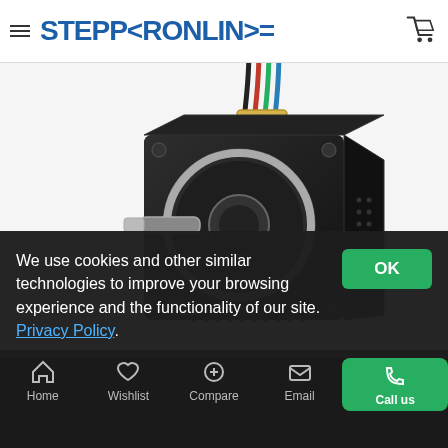STEPPERONLINE
[Figure (photo): NEMA 17 stepper motor with wiring connector on top, shown at an angle with shaft protruding from the front face. Black body with silver faceplate and mounting holes at corners.]
We use cookies and other similar technologies to improve your browsing experience and the functionality of our site. Privacy Policy.
Home   Wishlist   Compare   Email   Call us